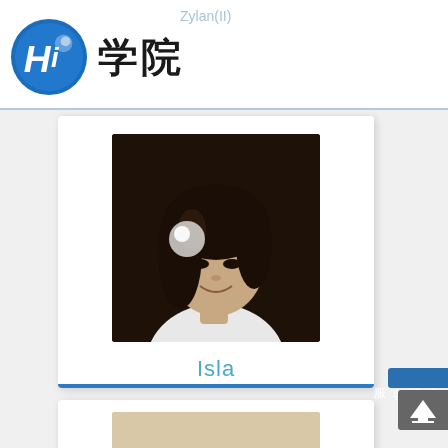Hi 学院
Zylan(II)
[Figure (photo): Profile card for Isla: portrait photo of a young Asian woman with long dark hair, smiling, against dark background; name 'Isla' in teal text below]
[Figure (photo): Partial profile card for a man: portrait photo showing face of a man with short dark hair, cropped at chin level]